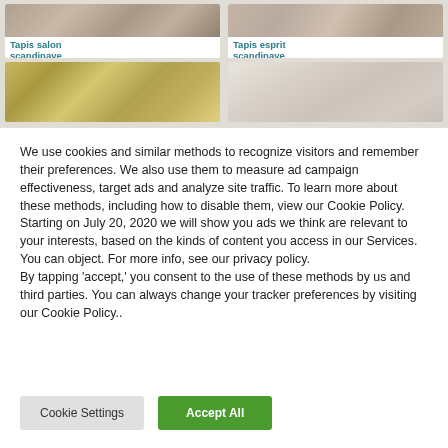[Figure (photo): Product card image - rug/carpet photo for Tapis salon scandinave]
[Figure (photo): Product card image - rug/carpet photo for Tapis esprit scandinave]
Tapis salon scandinave
Tapis esprit scandinave
[Figure (photo): Product card image - furniture/dresser photo]
[Figure (photo): Product card image - home decor photo]
We use cookies and similar methods to recognize visitors and remember their preferences. We also use them to measure ad campaign effectiveness, target ads and analyze site traffic. To learn more about these methods, including how to disable them, view our Cookie Policy. Starting on July 20, 2020 we will show you ads we think are relevant to your interests, based on the kinds of content you access in our Services. You can object. For more info, see our privacy policy.
By tapping ‘accept,’ you consent to the use of these methods by us and third parties. You can always change your tracker preferences by visiting our Cookie Policy..